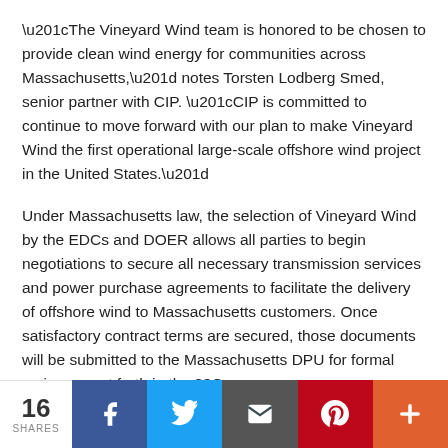“The Vineyard Wind team is honored to be chosen to provide clean wind energy for communities across Massachusetts,” notes Torsten Lodberg Smed, senior partner with CIP. “CIP is committed to continue to move forward with our plan to make Vineyard Wind the first operational large-scale offshore wind project in the United States.”
Under Massachusetts law, the selection of Vineyard Wind by the EDCs and DOER allows all parties to begin negotiations to secure all necessary transmission services and power purchase agreements to facilitate the delivery of offshore wind to Massachusetts customers. Once satisfactory contract terms are secured, those documents will be submitted to the Massachusetts DPU for formal review as set forth in the 83C process.
16 SHARES